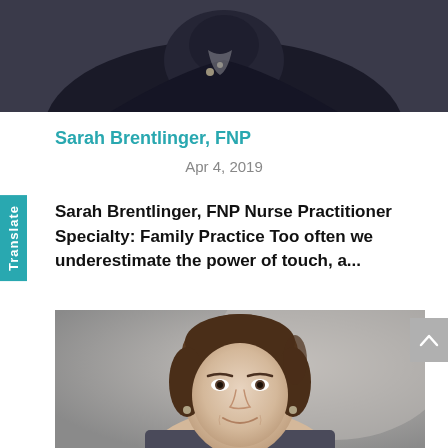[Figure (photo): Top portion of a person wearing dark clothing, photo cropped at the top of the page]
Sarah Brentlinger, FNP
Apr 4, 2019
Sarah Brentlinger, FNP Nurse Practitioner Specialty: Family Practice Too often we underestimate the power of touch, a...
[Figure (photo): Portrait photo of a woman with brown hair pulled back, smiling, against a gray background]